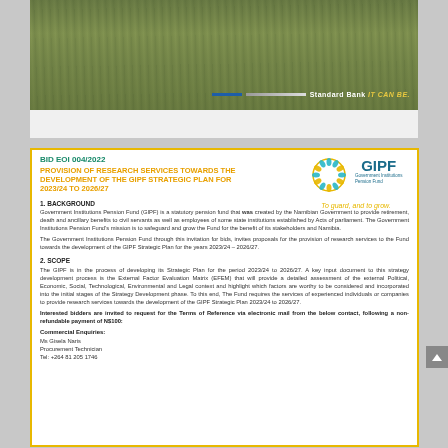[Figure (photo): Grass field background banner with Standard Bank IT CAN BE branding stripe at bottom]
BID EOI 004/2022
PROVISION OF RESEARCH SERVICES TOWARDS THE DEVELOPMENT OF THE GIPF STRATEGIC PLAN FOR 2023/24 TO 2026/27
[Figure (logo): GIPF Government Institutions Pension Fund logo with circular teal/gold emblem and tagline 'To guard, and to grow.']
1. BACKGROUND
Government Institutions Pension Fund (GIPF) is a statutory pension fund that was created by the Namibian Government to provide retirement, death and ancillary benefits to civil servants as well as employees of some state institutions established by Acts of parliament. The Government Institutions Pension Fund's mission is to safeguard and grow the Fund for the benefit of its stakeholders and Namibia.
The Government Institutions Pension Fund through this invitation for bids, invites proposals for the provision of research services to the Fund towards the development of the GIPF Strategic Plan for the years 2023/24 – 2026/27.
2. SCOPE
The GIPF is in the process of developing its Strategic Plan for the period 2023/24 to 2026/27. A key input document to this strategy development process is the External Factor Evaluation Matrix (EFEM) that will provide a detailed assessment of the external Political, Economic, Social, Technological, Environmental and Legal context and highlight which factors are worthy to be considered and incorporated into the initial stages of the Strategy Development phase. To this end, The Fund requires the services of experienced individuals or companies to provide research services towards the development of the GIPF Strategic Plan 2023/24 to 2026/27.
Interested bidders are invited to request for the Terms of Reference via electronic mail from the below contact, following a non-refundable payment of N$100:
Commercial Enquiries:
Ms Gisela Naris
Procurement Technician
Tel: +264 81 205 1746